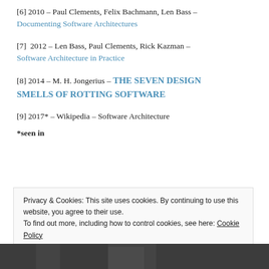[6] 2010 – Paul Clements, Felix Bachmann, Len Bass – Documenting Software Architectures
[7]  2012 – Len Bass, Paul Clements, Rick Kazman – Software Architecture in Practice
[8] 2014 – M. H. Jongerius – THE SEVEN DESIGN SMELLS OF ROTTING SOFTWARE
[9] 2017* – Wikipedia – Software Architecture
*seen in
Privacy & Cookies: This site uses cookies. By continuing to use this website, you agree to their use.
To find out more, including how to control cookies, see here: Cookie Policy
[Figure (photo): Bottom strip showing a partial photo of a person]